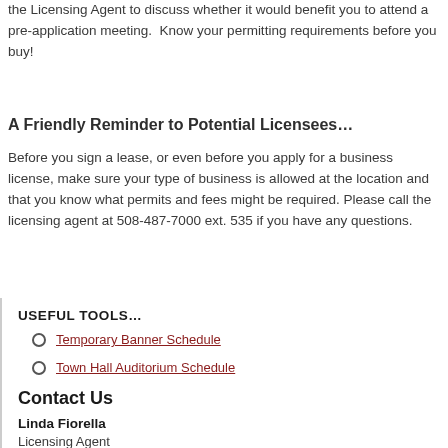the Licensing Agent to discuss whether it would benefit you to attend a pre-application meeting. Know your permitting requirements before you buy!
A Friendly Reminder to Potential Licensees…
Before you sign a lease, or even before you apply for a business license, make sure your type of business is allowed at the location and that you know what permits and fees might be required. Please call the licensing agent at 508-487-7000 ext. 535 if you have any questions.
USEFUL TOOLS…
Temporary Banner Schedule
Town Hall Auditorium Schedule
Contact Us
Linda Fiorella
Licensing Agent